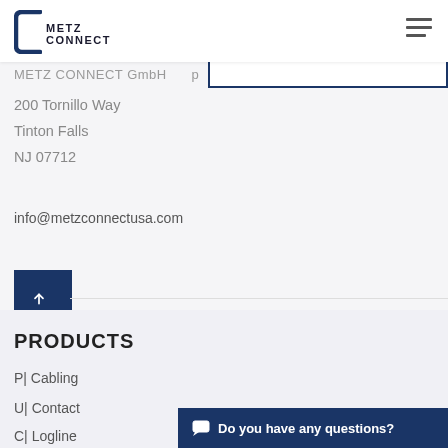METZ CONNECT
METZ CONNECT GmbH...
200 Tornillo Way
Tinton Falls
NJ 07712
info@metzconnectusa.com
[Figure (illustration): Back to top button - dark blue square with upward arrow]
PRODUCTS
P| Cabling
U| Contact
C| Logline
Do you have any questions?